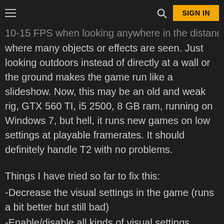≡  🔍  SIGN IN
10-15 FPS when looking anywhere in the distance where many objects or effects are seen. Just looking outdoors instead of directly at a wall or the ground makes the game run like a slideshow. Now, this may be an old and weak rig, GTX 560 TI, i5 2500, 8 GB ram, running on Windows 7, but hell, it runs new games on low settings at playable framerates. It should definitely handle T2 with no problems.
Things I have tried so far to fix this:
-Decrease the visual settings in the game (runs a bit better but still bad)
-Enable/disable all kinds of visual settings, changed resolution, etc, no major difference spotted
-Disable/enable vsync either from the game or the nvidia control panel